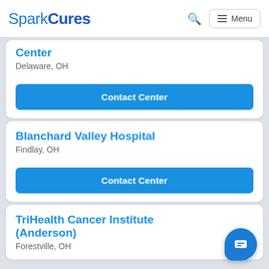SparkCures
Center
Delaware, OH
Contact Center
Blanchard Valley Hospital
Findlay, OH
Contact Center
TriHealth Cancer Institute (Anderson)
Forestville, OH